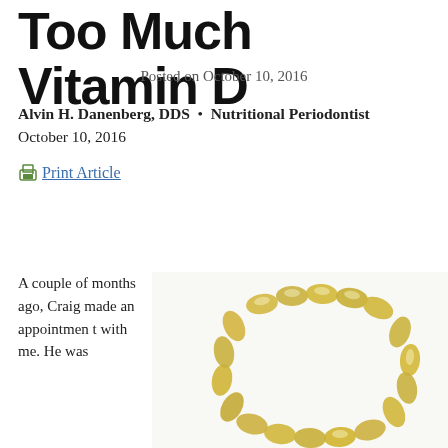Too Much Vitamin D
Posted on October 10, 2016
Alvin H. Danenberg, DDS  •  Nutritional Periodontist
October 10, 2016
Print Article
A couple of months ago, Craig made an appointment with me. He was
[Figure (photo): A ring of golden yellow vitamin D supplement capsules/softgels arranged in a circular pattern on a white background, forming the shape of the letter D.]